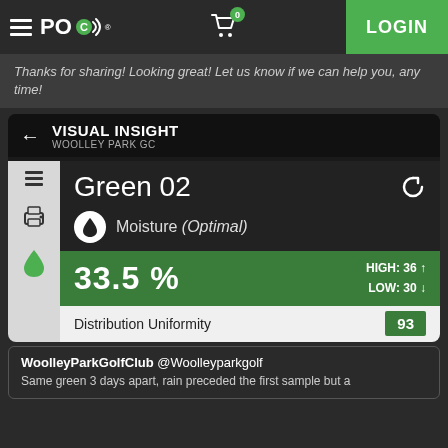POCO — LOGIN
Thanks for sharing! Looking great! Let us know if we can help you, any time!
VISUAL INSIGHT — WOOLLEY PARK GC
Green 02
Moisture (Optimal)
33.5 %
HIGH: 36 ↑  LOW: 30 ↓
| Distribution Uniformity | Value |
| --- | --- |
| Distribution Uniformity | 93 |
WoolleyParkGolfClub @Woolleyparkgolf
Same green 3 days apart, rain preceded the first sample but a